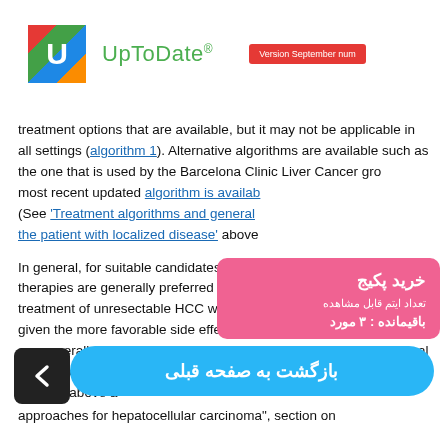[Figure (logo): UpToDate logo with colorful U icon and green UpToDate text and red version badge]
treatment options that are available, but it may not be applicable in all settings (algorithm 1). Alternative algorithms are available such as the one that is used by the Barcelona Clinic Liver Cancer group; the most recent updated algorithm is available. (See 'Treatment algorithms and general approach to the patient with localized disease' above
[Figure (infographic): Pink popup overlay in Persian: خرید پکیج (Buy Package), تعداد ایتم قابل مشاهده (Number of viewable items), باقیمانده : ۳ مورد (Remaining: 3 items)]
In general, for suitable candidates, locoregional liver-directed therapies are generally preferred over systemic therapy for initial treatment of unresectable HCC without extrahepatic metastases, given the more favorable side effect profile. Embolization and HAIC are generally reserved for those who are not eligible for local thermal ablation or focal stereotactic body radiotherapy (SBRT systemic therapy' above and approaches for hepatocellular carcinoma", section on
[Figure (infographic): Blue rounded button with Persian text: بازگشت به صفحه قبلی (Back to previous page), and dark back arrow button on the left]